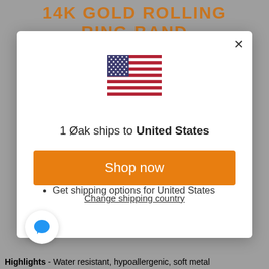14K GOLD ROLLING RING BAND
[Figure (screenshot): Modal dialog with US flag, shipping info, Shop now button and Change shipping country link]
1 Øak ships to United States
Shop in USD $
Get shipping options for United States
Shop now
Change shipping country
Highlights - Water resistant, hypoallergenic, soft metal